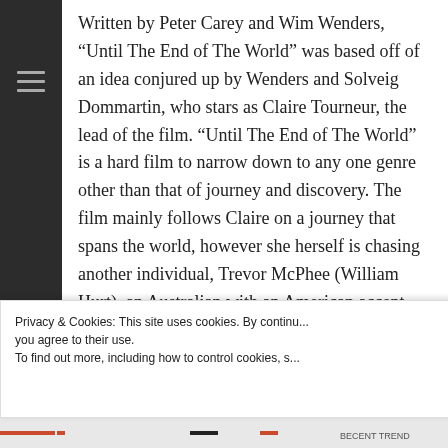Written by Peter Carey and Wim Wenders, “Until The End of The World” was based off of an idea conjured up by Wenders and Solveig Dommartin, who stars as Claire Tourneur, the lead of the film. “Until The End of The World” is a hard film to narrow down to any one genre other than that of journey and discovery. The film mainly follows Claire on a journey that spans the world, however she herself is chasing another individual, Trevor McPhee (William Hurt), an Australian with an American accent that she bumps into in France. However, there are a few key details to digest first
Privacy & Cookies: This site uses cookies. By continu... you agree to their use. To find out more, including how to control cookies, s...
Close and accept